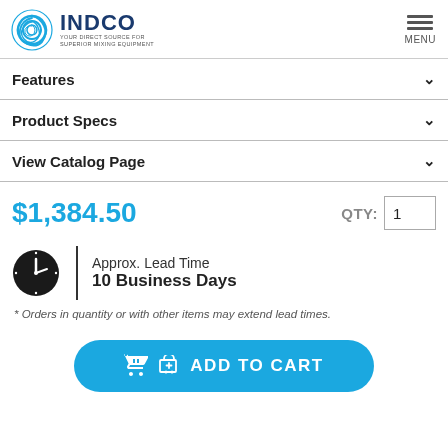[Figure (logo): INDCO logo with blue spiral graphic and text 'YOUR DIRECT SOURCE FOR SUPERIOR MIXING EQUIPMENT']
Features
Product Specs
View Catalog Page
$1,384.50
QTY: 1
Approx. Lead Time
10 Business Days
* Orders in quantity or with other items may extend lead times.
ADD TO CART